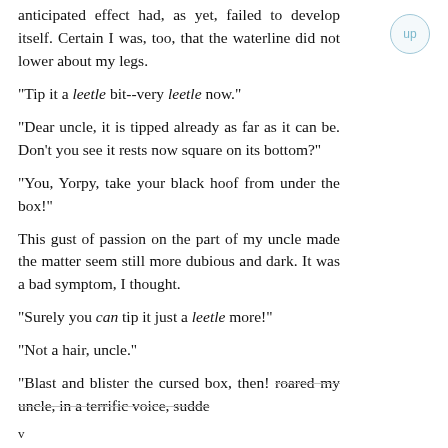anticipated effect had, as yet, failed to develop itself. Certain I was, too, that the waterline did not lower about my legs.
"Tip it a leetle bit--very leetle now."
"Dear uncle, it is tipped already as far as it can be. Don't you see it rests now square on its bottom?"
"You, Yorpy, take your black hoof from under the box!"
This gust of passion on the part of my uncle made the matter seem still more dubious and dark. It was a bad symptom, I thought.
"Surely you can tip it just a leetle more!"
"Not a hair, uncle."
"Blast and blister the cursed box, then! roared my uncle, in a terrific voice, sudde-
v